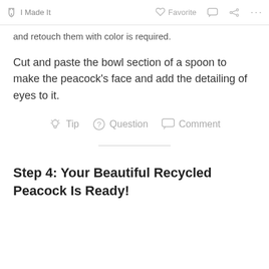I Made It    Favorite    Comment    Share    ...
and retouch them with color is required.
Cut and paste the bowl section of a spoon to make the peacock's face and add the detailing of eyes to it.
Tip   Question   Comment
Step 4: Your Beautiful Recycled Peacock Is Ready!